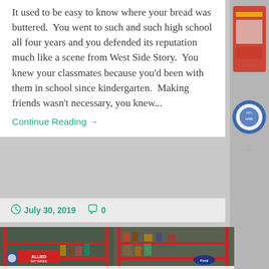It used to be easy to know where your bread was buttered. You went to such and such high school all four years and you defended its reputation much like a scene from West Side Story. You knew your classmates because you'd been with them in school since kindergarten. Making friends wasn't necessary, you knew...
Continue Reading →
July 30, 2019   0
[Figure (photo): Two display shelving units with red metal frames filled with vintage collectibles, toys, tins, signs including Allied Batteries sign, various vintage memorabilia and antiques]